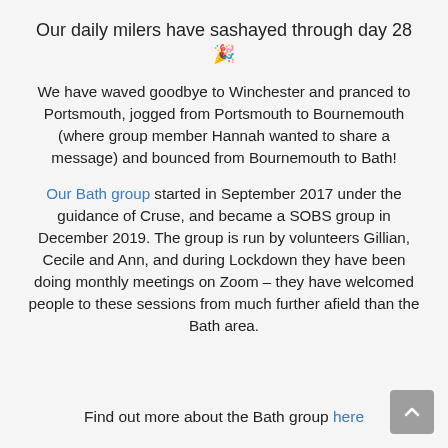Our daily milers have sashayed through day 28 🎉
We have waved goodbye to Winchester and pranced to Portsmouth, jogged from Portsmouth to Bournemouth (where group member Hannah wanted to share a message) and bounced from Bournemouth to Bath!
Our Bath group started in September 2017 under the guidance of Cruse, and became a SOBS group in December 2019. The group is run by volunteers Gillian, Cecile and Ann, and during Lockdown they have been doing monthly meetings on Zoom – they have welcomed people to these sessions from much further afield than the Bath area.
Find out more about the Bath group here